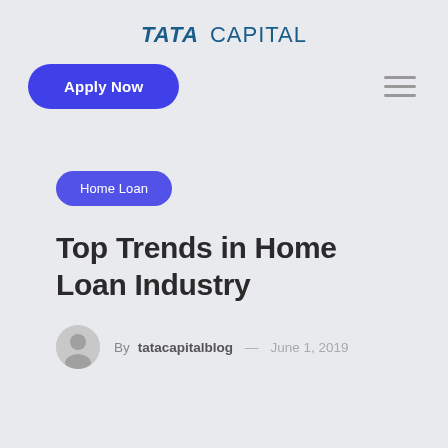TATA CAPITAL
Apply Now
Home Loan
Top Trends in Home Loan Industry
By tatacapitalblog — June 1, 2019